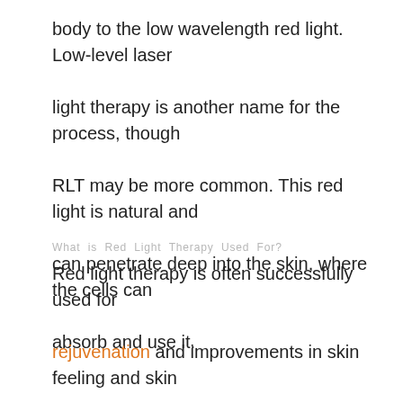body to the low wavelength red light. Low-level laser light therapy is another name for the process, though RLT may be more common. This red light is natural and can penetrate deep into the skin, where the cells can absorb and use it.
What is Red Light Therapy Used For?
Red light therapy is often successfully used for rejuvenation and improvements in skin feeling and skin complexion. Furthermore, science suggests that it can be